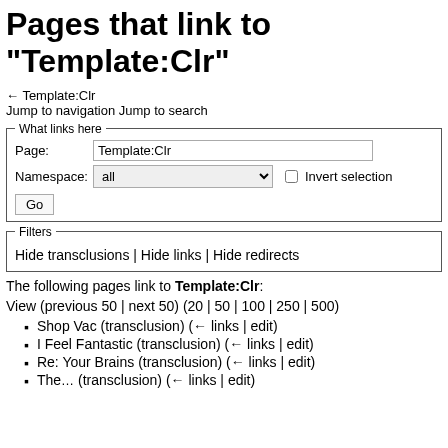Pages that link to "Template:Clr"
← Template:Clr
Jump to navigation Jump to search
What links here fieldset with Page: Template:Clr, Namespace: all, Invert selection checkbox, Go button
Filters fieldset with: Hide transclusions | Hide links | Hide redirects
The following pages link to Template:Clr:
View (previous 50 | next 50) (20 | 50 | 100 | 250 | 500)
Shop Vac (transclusion)  (← links | edit)
I Feel Fantastic (transclusion)  (← links | edit)
Re: Your Brains (transclusion)  (← links | edit)
The... (transclusion)  (← links | edit)